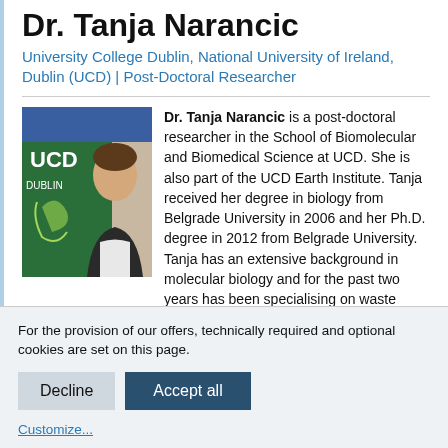Dr. Tanja Narancic
University College Dublin, National University of Ireland, Dublin (UCD) | Post-Doctoral Researcher
Dr. Tanja Narancic is a post-doctoral researcher in the School of Biomolecular and Biomedical Science at UCD. She is also part of the UCD Earth Institute. Tanja received her degree in biology from Belgrade University in 2006 and her Ph.D. degree in 2012 from Belgrade University. Tanja has an extensive background in molecular biology and for the past two years has been specialising on waste conversion
[Figure (photo): Photo of Dr. Tanja Narancic standing in front of a UCD Dublin banner/shield logo]
For the provision of our offers, technically required and optional cookies are set on this page.
Decline
Accept all
Customize...